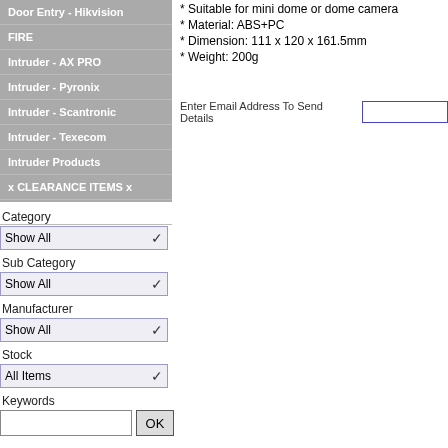Door Entry - Hikvision
FIRE
Intruder - AX PRO
Intruder - Pyronix
Intruder - Scantronic
Intruder - Texecom
Intruder Products
x CLEARANCE ITEMS x
All Products
* Suitable for mini dome or dome camera
* Material: ABS+PC
* Dimension: 111 x 120 x 161.5mm
* Weight: 200g
Enter Email Address To Send Details
Category
Show All
Sub Category
Show All
Manufacturer
Show All
Stock
All Items
Keywords
OK